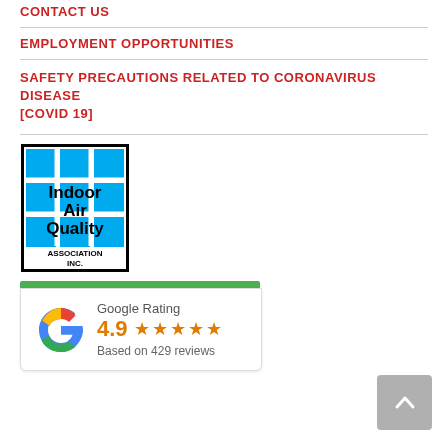CONTACT US
EMPLOYMENT OPPORTUNITIES
SAFETY PRECAUTIONS RELATED TO CORONAVIRUS DISEASE [COVID 19]
[Figure (logo): Indoor Air Quality Association Inc. logo - blue grid background with bold black text]
[Figure (infographic): Google Rating card showing 4.9 stars based on 429 reviews, with Google G logo and green top bar]